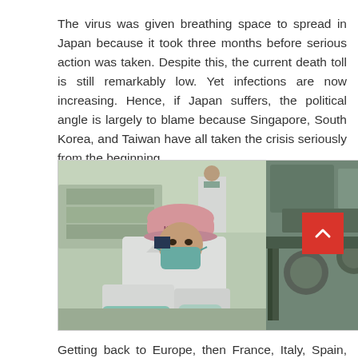The virus was given breathing space to spread in Japan because it took three months before serious action was taken. Despite this, the current death toll is still remarkably low. Yet infections are now increasing. Hence, if Japan suffers, the political angle is largely to blame because Singapore, South Korea, and Taiwan have all taken the crisis seriously from the beginning.
[Figure (photo): A worker in a white lab coat, pink cap labeled KNH, and teal face mask operates industrial machinery in a factory setting. Another masked worker in the background. The setting appears to be a mask or medical equipment manufacturing facility.]
Getting back to Europe, then France, Italy, Spain, and the United Kingdom are suffering horrendously. Is this based on being carefree from the start of the pandemic? Is it